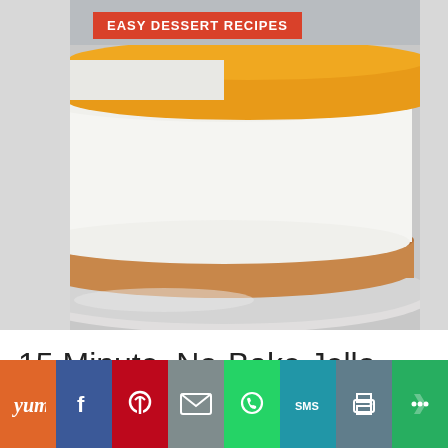[Figure (photo): A no-bake jello cheesecake with orange/yellow jello topping, white creamy filling, and graham cracker crust on a white plate. A slice has been removed showing the layers.]
EASY DESSERT RECIPES
15 Minute, No-Bake Jello Cheesecake Recipe- Amazingly Delicious and Light
[Figure (infographic): Social sharing toolbar with icons: Yum (orange), Facebook (blue), Pinterest (red), Email (gray), WhatsApp (green), SMS (teal), Print (dark gray), More (green)]